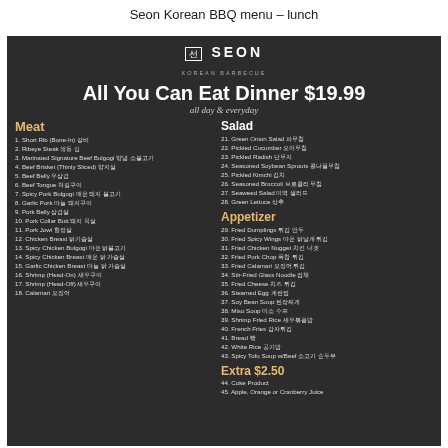Seon Korean BBQ menu – lunch
[Figure (photo): Seon Korean BBQ restaurant menu on dark background showing All You Can Eat Dinner $19.99, with Meat, Salad, Appetizer, and Extra sections listing numbered items]
All You Can Eat Dinner $19.99
all day & everyday
Meat
1. Short Rib (Bone-In) 갈비
2. Ribeye Steak 생동 심
3. Marinated Signature Beef Bulgogi 양념 소불고기
4. Beef Brisket (Thinly Sliced) 양지살
5. Beef Belly 우삼겹
6. Beef Tongue 혀길구이
7. Spicy Pork Bulgogi 매운 돼지 불고기
8. Garlic Pork 마늘 돼지구이
9. Pork Belly 삼겹살
10. Pork Collar Butt 돼지 목살
11. Pork Jowl 항정살
12. Chicken Breast 닭기슴살
13. Spicy Chicken Bulgogi 마운 닭불고기
14. Spicy Chicken Breast 매운 닭 가슴살
15. Garlic Chicken Breast 마늘 닭 가슴살
16. Shrimp (Head-On) 새우구이
17. Shrimp (Head-Off) 새우구이
18. Calamari 오징어
Salad
21. Green Onion Salad 파무침
22. Pickled Cucumber 오이무침
23. Pickled Radish 단무지
24. Seasoned Soybean Sprouts 콩나물무침
25. Pickled Kimchi 김치
26. Seasoned Broccoli 브로콜리 무침
27. Seaweed Salad 미역 샐러드
28. Green Lettuce 상추
Appetizer
29. Fried Dumplings 튀김 만두
30. Fried Spicy Wings 마운 닭날개 튀김
31. Fried Chicken Nugget 치킨 너겟
32. Fried Pork Chop 폭찹 튀김
33. Fried Calamari 오징어 튀김
34. Stir-Fried Glass Noodle 잡채
35. Fried Cheese 치즈 튀김
36. Steamed Egg 계란찜
37. Soy Bean Soup 된장찌게
38. Miso Soup 미소 수프
39. Shrimp Fried Rice 새우볶음밥
40. French Fries 감자튀김
41. Bread 빵
42. White Rice 공기밥
43. Spicy Tofu Soup w/Beef 소고기 순두부
Extra $2.50
44. Coke Product
45. Apple, Orange or Cranberry Juice